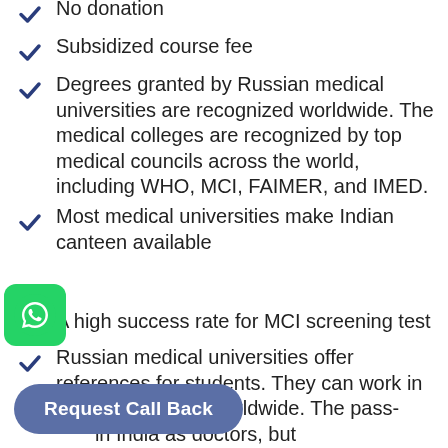No donation
Subsidized course fee
Degrees granted by Russian medical universities are recognized worldwide. The medical colleges are recognized by top medical councils across the world, including WHO, MCI, FAIMER, and IMED.
Most medical universities make Indian canteen available
A high success rate for MCI screening test
Russian medical universities offer references for students. They can work in leading hospitals worldwide. The pass- [in India as doctors, but] [uch as the UK, the USA,]
[Figure (logo): WhatsApp green icon button]
Request Call Back